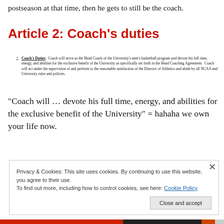postseason at that time, then he gets to still be the coach.
Article 2: Coach's duties
Coach's Duties: Coach will serve as the Head Coach of the University's men's basketball program and devote his full time, energy, and abilities for the exclusive benefit of the University as specifically set forth in the Head Coaching Agreement. Coach will act under the supervision of and perform to the reasonable satisfaction of the Director of Athletics and abide by all NCAA and University rules and policies.
“Coach will … devote his full time, energy, and abilities for the exclusive benefit of the University” = hahaha we own your life now.
Privacy & Cookies: This site uses cookies. By continuing to use this website, you agree to their use. To find out more, including how to control cookies, see here: Cookie Policy
Close and accept